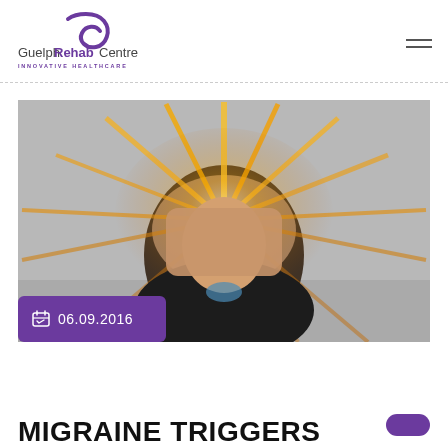Guelph Rehab Centre — Innovative Healthcare
[Figure (logo): Guelph Rehab Centre logo with stylized purple swirl and text 'Guelph Rehab Centre Innovative Healthcare']
[Figure (photo): Person holding their head in distress with radiating light streaks suggesting migraine pain, dramatic orange and golden light bursts around the head]
06.09.2016
MIGRAINE TRIGGERS